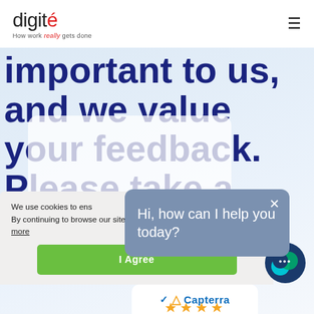[Figure (logo): Digite logo with tagline 'How work really gets done']
important to us, and we value your feedback. Please take a moment to write a review about
[Figure (screenshot): Cookie consent banner with 'We use cookies to ensure... Learn more' and 'I Agree' button]
[Figure (screenshot): Chat popup bubble saying 'Hi, how can I help you today?' with close button]
[Figure (logo): Capterra logo with star ratings at bottom]